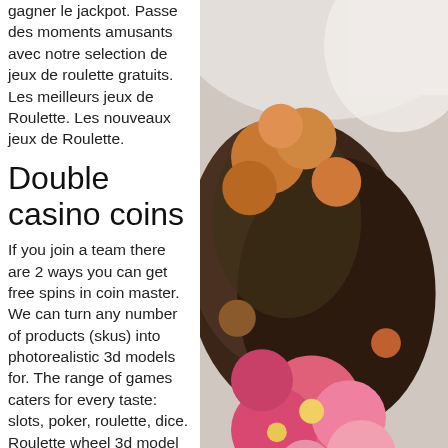gagner le jackpot. Passe des moments amusants avec notre selection de jeux de roulette gratuits. Les meilleurs jeux de Roulette. Les nouveaux jeux de Roulette.
Double casino coins
If you join a team there are 2 ways you can get free spins in coin master. We can turn any number of products (skus) into photorealistic 3d models for. The range of games caters for every taste: slots, poker, roulette, dice. Roulette wheel 3d model for 3ds max, maya, cinema 4d, lightwave, softimage, blender and other 3d modeling and animation software. All parts of the wheel are separate objects and can be used for animation. &quot;one or more textures on this 3d model have been created with images from cgtextures. Tired of all those rigged roulette tables? tired of paying for chips? tired of bad graphics? if you love roulette, your search is over. Max - roulette -
[Figure (photo): A photograph of flowers and plant arrangement, showing pink dahlias and other colorful flowers with dark soil/moss on a light background.]